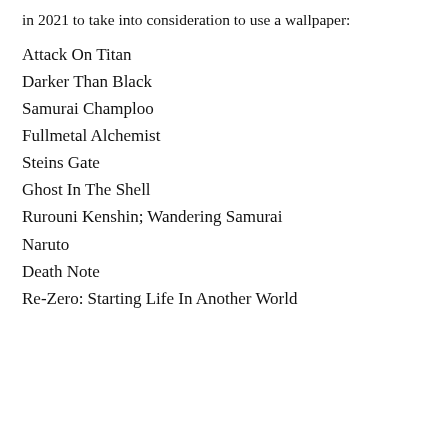in 2021 to take into consideration to use a wallpaper:
Attack On Titan
Darker Than Black
Samurai Champloo
Fullmetal Alchemist
Steins Gate
Ghost In The Shell
Rurouni Kenshin; Wandering Samurai
Naruto
Death Note
Re-Zero: Starting Life In Another World